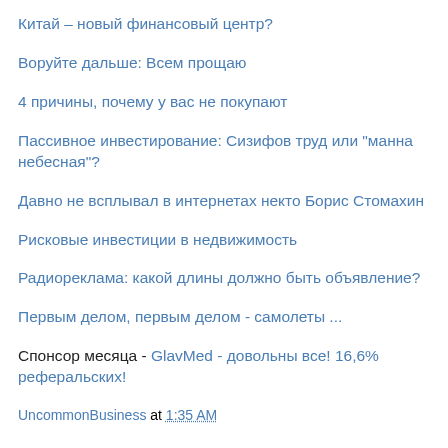Китай – новый финансовый центр?
Воруйте дальше: Всем прощаю
4 причины, почему у вас не покупают
Пассивное инвестирование: Сизифов труд или "манна небесная"?
Давно не всплывал в интернетах некто Борис Стомахин
Рисковые инвестиции в недвижимость
Радиореклама: какой длины должно быть объявление?
Первым делом, первым делом - самолеты ...
Спонсор месяца - GlavMed - довольны все! 16,6% реферальских!
UncommonBusiness at 1:35 AM